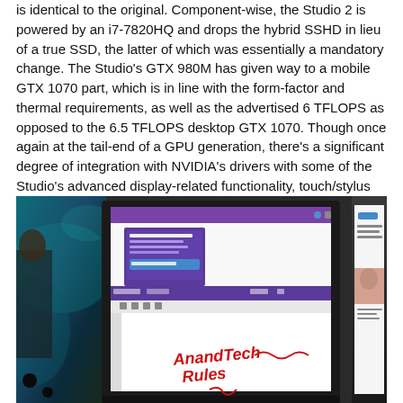is identical to the original. Component-wise, the Studio 2 is powered by an i7-7820HQ and drops the hybrid SSHD in lieu of a true SSD, the latter of which was essentially a mandatory change. The Studio's GTX 980M has given way to a mobile GTX 1070 part, which is in line with the form-factor and thermal requirements, as well as the advertised 6 TFLOPS as opposed to the 6.5 TFLOPS desktop GTX 1070. Though once again at the tail-end of a GPU generation, there's a significant degree of integration with NVIDIA's drivers with some of the Studio's advanced display-related functionality, touch/stylus and otherwise.
[Figure (photo): Photo of a Microsoft Surface Studio 2 display showing a Windows interface with an application open on screen. Handwritten red text reads 'AnandTech Rules' with stylus strokes. A second monitor/device is visible on the right side. The background shows a colorful desktop wallpaper.]